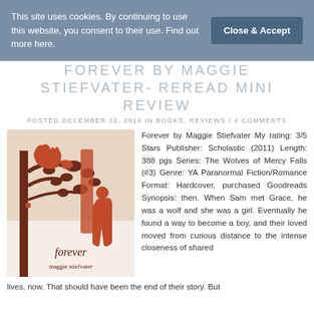This site uses cookies. By continuing to use this website, you consent to their use. Find out more here.
FOREVER BY MAGGIE STIEFVATER- REREAD MINI REVIEW
POSTED DECEMBER 22, 2014 IN BOOKS, REVIEWS / 4 COMMENTS
[Figure (photo): Book cover of 'Forever' by Maggie Stiefvater showing silhouetted figures and a wolf among trees in red/brown tones]
Forever by Maggie Stiefvater My rating: 3/5 Stars Publisher: Scholastic (2011) Length: 388 pgs Series: The Wolves of Mercy Falls (#3) Genre: YA Paranormal Fiction/Romance Format: Hardcover, purchased Goodreads Synopsis: then. When Sam met Grace, he was a wolf and she was a girl. Eventually he found a way to become a boy, and their loved moved from curious distance to the intense closeness of shared lives. now. That should have been the end of their story. But